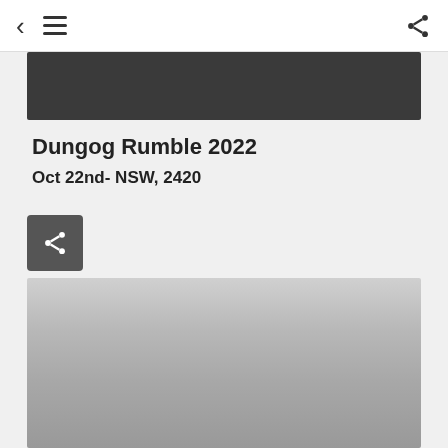< ≡  [share icon]
[Figure (other): Dark gray banner image at top of event listing]
Dungog Rumble 2022
Oct 22nd- NSW, 2420
[Figure (other): Share button icon (dark gray square with share symbol)]
[Figure (map): Map area showing event location, displayed as a gradient gray placeholder]